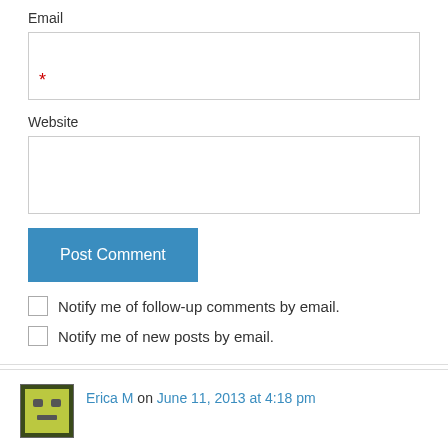Email
Website
Post Comment
Notify me of follow-up comments by email.
Notify me of new posts by email.
Erica M on June 11, 2013 at 4:18 pm
Welcome to yeah write, the new Elizabeth! My mom's allergies have gotten so severe, it's hard to take her anywhere anymore. She's all pestering the server and the chef (yes, we've had a few chefs appear at our table trying to explain "lady, I heard you the first time: no onion") so it's easier for us